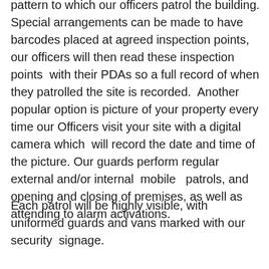pattern to which our officers patrol the building. Special arrangements can be made to have barcodes placed at agreed inspection points, our officers will then read these inspection points with their PDAs so a full record of when they patrolled the site is recorded.  Another popular option is picture of your property every time our Officers visit your site with a digital camera which  will record the date and time of the picture. Our guards perform regular external and/or internal  mobile   patrols, and opening and closing of premises, as well as attending to alarm activations.
Each patrol will be highly visible, with uniformed guards and vans marked with our security signage.